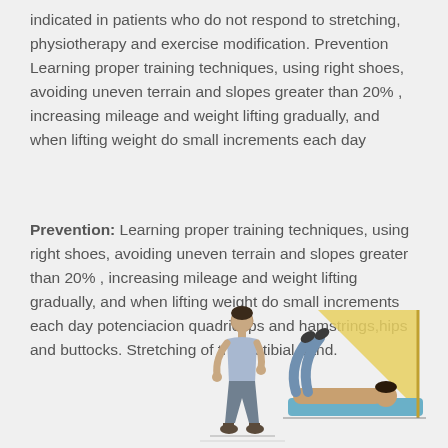indicated in patients who do not respond to stretching, physiotherapy and exercise modification. Prevention Learning proper training techniques, using right shoes, avoiding uneven terrain and slopes greater than 20% , increasing mileage and weight lifting gradually, and when lifting weight do small increments each day
Prevention: Learning proper training techniques, using right shoes, avoiding uneven terrain and slopes greater than 20% , increasing mileage and weight lifting gradually, and when lifting weight do small increments each day potenciacion quadriceps and hamstrings,hips and buttocks. Stretching of the iliotibial band.
[Figure (illustration): Illustration of a person standing upright, likely demonstrating an exercise or posture for prevention/rehabilitation.]
[Figure (illustration): Illustration of a person lying on a mat with legs raised against a wall or support, demonstrating an iliotibial band stretch.]